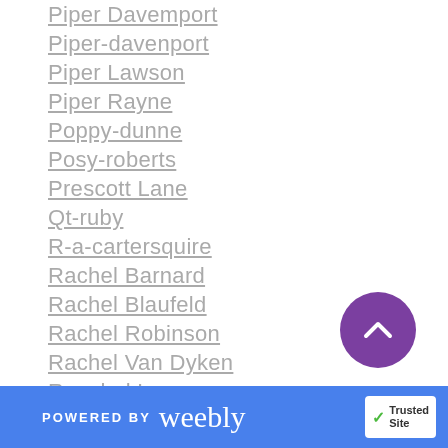Piper Davemport
Piper-davenport
Piper Lawson
Piper Rayne
Poppy-dunne
Posy-roberts
Prescott Lane
Qt-ruby
R-a-cartersquire
Rachel Barnard
Rachel Blaufeld
Rachel Robinson
Rachel Van Dyken
Raechel Lynn
Rae Daniels
Raine Miller
Randi Perrin
POWERED BY weebly | TrustedSite